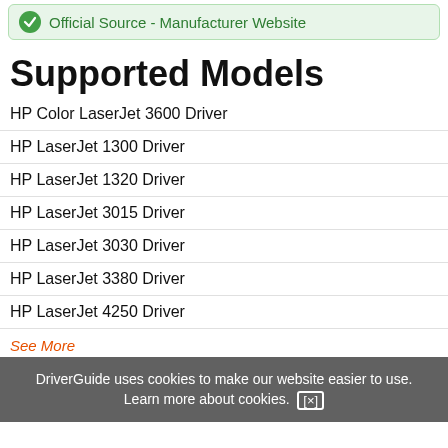Official Source - Manufacturer Website
Supported Models
HP Color LaserJet 3600 Driver
HP LaserJet 1300 Driver
HP LaserJet 1320 Driver
HP LaserJet 3015 Driver
HP LaserJet 3030 Driver
HP LaserJet 3380 Driver
HP LaserJet 4250 Driver
See More
Manufacturers
HP
DriverGuide uses cookies to make our website easier to use. Learn more about cookies. [×]